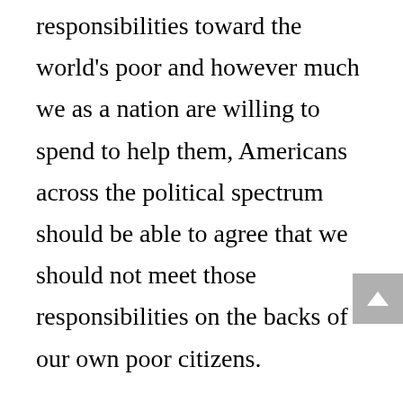responsibilities toward the world's poor and however much we as a nation are willing to spend to help them, Americans across the political spectrum should be able to agree that we should not meet those responsibilities on the backs of our own poor citizens.
Fortunately, there are better ways to meet our responsibilities to poor people in other parts of the world. The United States remains a wealthy and powerful nation and there is a lot we can do to help people